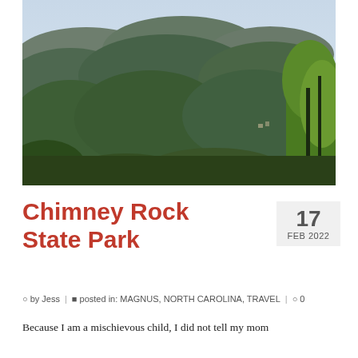[Figure (photo): Aerial scenic view of Chimney Rock State Park, showing forested green hills, a winding blue lake/river, and trees in the foreground under a hazy sky.]
Chimney Rock State Park
17
FEB 2022
by Jess | posted in: MAGNUS, NORTH CAROLINA, TRAVEL | 0
Because I am a mischievous child, I did not tell my mom